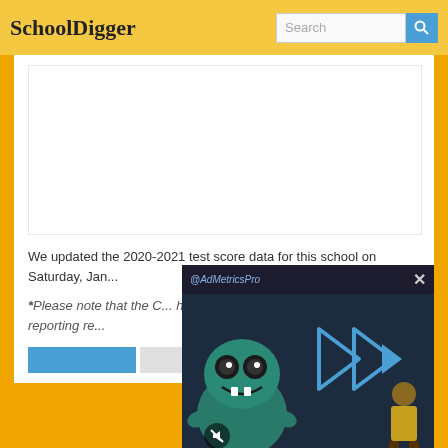SchoolDigger
[Figure (screenshot): Search bar with 'Search' placeholder text and blue search button icon]
[Figure (other): White advertisement placeholder block]
We updated the 2020-2021 test score data for this school on Saturday, Jan...
*Please note that the COVID-19 pandemic has had a profound impact on st... of schools reporting re...
[Figure (other): Video overlay popup with AdMetricsPro branding, animated monster character with play button controls and mute button, and X close button]